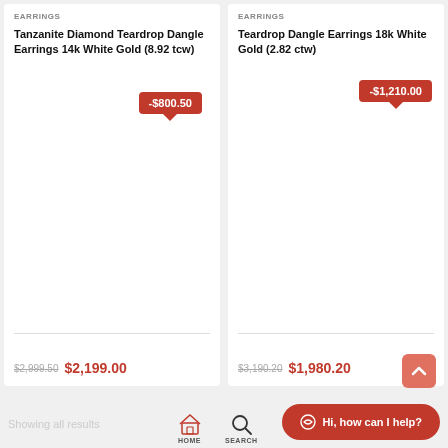EARRINGS
Tanzanite Diamond Teardrop Dangle Earrings 14k White Gold (8.92 tcw)
-$800.50
$2,999.50  $2,199.00
EARRINGS
Teardrop Dangle Earrings 18k White Gold (2.82 ctw)
-$1,210.00
$3,190.20  $1,980.20
Showing all results
HOME
SEARCH
Hi, how can I help?